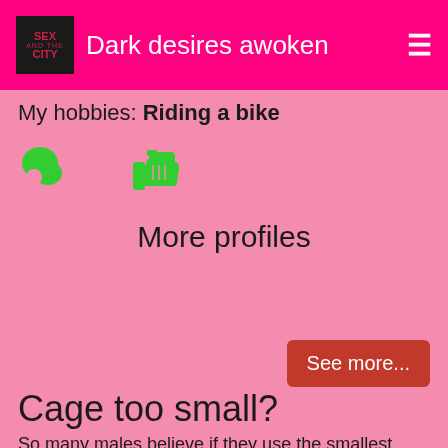Dark desires awoken
My hobbies: Riding a bike
[Figure (infographic): Green chat bubble icon and green thumbs up icon]
More profiles
See more...
Cage too small?
So many males believe if they use the smallest base ring that they can fit into the more secure their male chastity